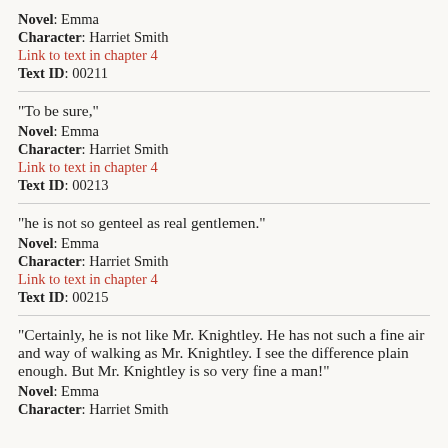Novel: Emma
Character: Harriet Smith
Link to text in chapter 4
Text ID: 00211
"To be sure,"
Novel: Emma
Character: Harriet Smith
Link to text in chapter 4
Text ID: 00213
"he is not so genteel as real gentlemen."
Novel: Emma
Character: Harriet Smith
Link to text in chapter 4
Text ID: 00215
"Certainly, he is not like Mr. Knightley. He has not such a fine air and way of walking as Mr. Knightley. I see the difference plain enough. But Mr. Knightley is so very fine a man!"
Novel: Emma
Character: Harriet Smith